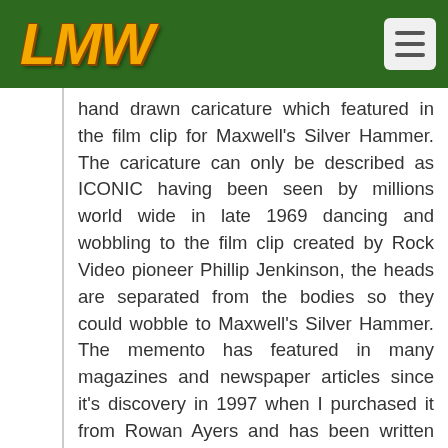LMW
hand drawn caricature which featured in the film clip for Maxwell's Silver Hammer. The caricature can only be described as ICONIC having been seen by millions world wide in late 1969 dancing and wobbling to the film clip created by Rock Video pioneer Phillip Jenkinson, the heads are separated from the bodies so they could wobble to Maxwell's Silver Hammer. The memento has featured in many magazines and newspaper articles since it's discovery in 1997 when I purchased it from Rowan Ayers and has been written about in books including the official biographer of The Beatles Hunter Davies and